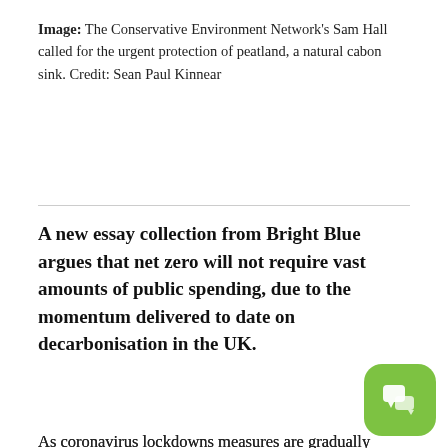Image: The Conservative Environment Network's Sam Hall called for the urgent protection of peatland, a natural cabon sink. Credit: Sean Paul Kinnear
A new essay collection from Bright Blue argues that net zero will not require vast amounts of public spending, due to the momentum delivered to date on decarbonisation in the UK.
As coronavirus lockdowns measures are gradually relaxed across Europe, calls for governments to establish climate-focused recovery programmes have become ever louder, with many businesses and campaigners fearing that mid-century net zero ambitions could be undermined by bailouts and